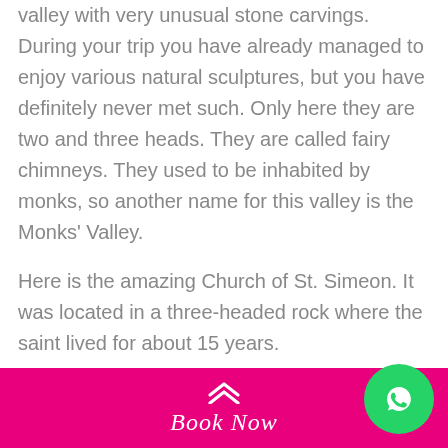valley with very unusual stone carvings. During your trip you have already managed to enjoy various natural sculptures, but you have definitely never met such. Only here they are two and three heads. They are called fairy chimneys. They used to be inhabited by monks, so another name for this valley is the Monks' Valley.
Here is the amazing Church of St. Simeon. It was located in a three-headed rock where the saint lived for about 15 years.
You can see the cell and the chapel in this extraordinary church.
Valley of Fantasy
Book Now